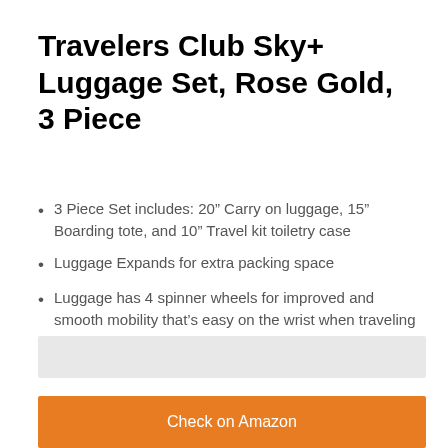Travelers Club Sky+ Luggage Set, Rose Gold, 3 Piece
3 Piece Set includes: 20” Carry on luggage, 15” Boarding tote, and 10” Travel kit toiletry case
Luggage Expands for extra packing space
Luggage has 4 spinner wheels for improved and smooth mobility that’s easy on the wrist when traveling
Luggage material: ABS hard-shell that’s light yet durable
15” Boarding tote features a back strap that can attach onto luggage trolleys
Check on Amazon